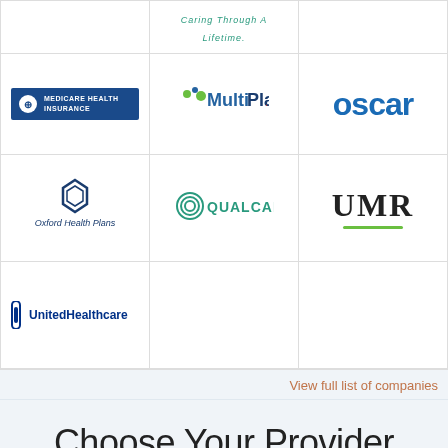[Figure (logo): Grid of insurance company logos: Medicare Health Insurance, MultiPlan, Oscar, Oxford Health Plans, QualCare, UMR, UnitedHealthcare]
View full list of companies
Choose Your Provider
[Figure (other): Search box outline at bottom of page]